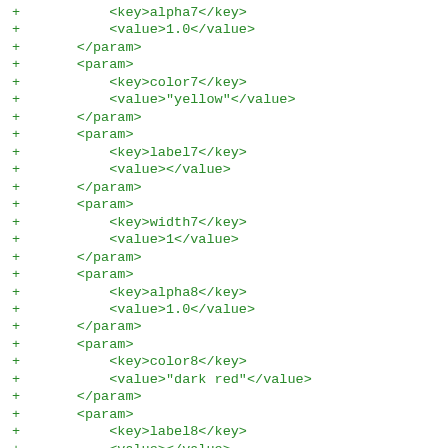+           <key>alpha7</key>
+           <value>1.0</value>
+       </param>
+       <param>
+           <key>color7</key>
+           <value>"yellow"</value>
+       </param>
+       <param>
+           <key>label7</key>
+           <value></value>
+       </param>
+       <param>
+           <key>width7</key>
+           <value>1</value>
+       </param>
+       <param>
+           <key>alpha8</key>
+           <value>1.0</value>
+       </param>
+       <param>
+           <key>color8</key>
+           <value>"dark red"</value>
+       </param>
+       <param>
+           <key>label8</key>
+           <value></value>
+       </param>
+       <param>
+           <key>width8</key>
+           <value>1</value>